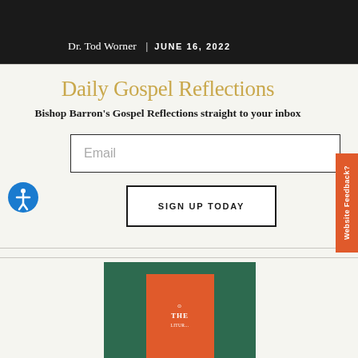Dr. Tod Worner | JUNE 16, 2022
Daily Gospel Reflections
Bishop Barron's Gospel Reflections straight to your inbox
Email
SIGN UP TODAY
[Figure (photo): Book cover partially visible at bottom of page on a dark green background, with an orange/red book cover showing text 'THE']